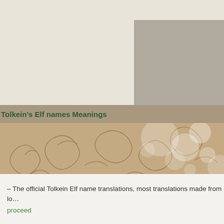[Figure (illustration): Decorative ornamental parchment background with swirling vine patterns and bokeh light circles in warm tan and gold tones, with a dark green pill-shaped search bar labeled 'Elvish']
Tolkein's Elf names Meanings
– The official Tolkein Elf name translations, most translations made from lo…
proceed